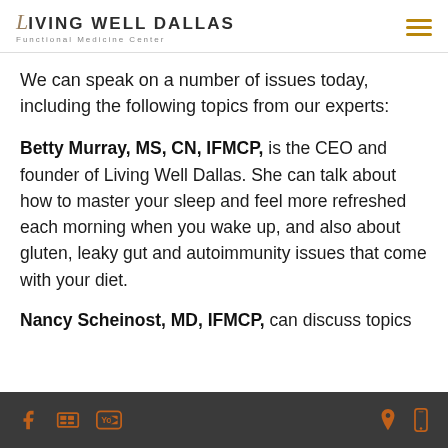LIVING WELL DALLAS — Functional Medicine Center
We can speak on a number of issues today, including the following topics from our experts:
Betty Murray, MS, CN, IFMCP, is the CEO and founder of Living Well Dallas. She can talk about how to master your sleep and feel more refreshed each morning when you wake up, and also about gluten, leaky gut and autoimmunity issues that come with your diet.
Nancy Scheinost, MD, IFMCP, can discuss topics
Social media icons and contact icons